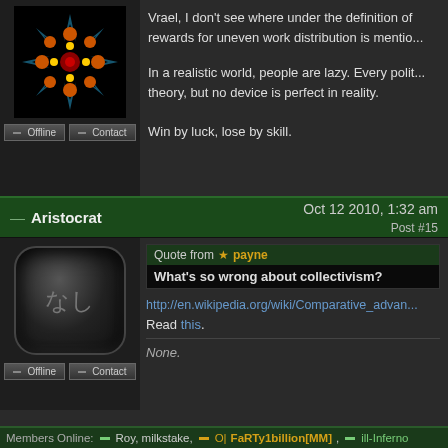[Figure (illustration): Decorative mandala/snowflake avatar on black background]
Vrael, I don't see where under the definition of collectivism, rewards for uneven work distribution is mentioned.
In a realistic world, people are lazy. Every political theory, but no device is perfect in reality.
Win by luck, lose by skill.
— Aristocrat    Oct 12 2010, 1:32 am    Post #15
[Figure (illustration): Black rounded square avatar with Japanese text 'なし']
Quote from ★ payne
What's so wrong about collectivism?
http://en.wikipedia.org/wiki/Comparative_advantage
Read this.
None.
Members Online:   ≡ Roy, milkstake,   ≡ O| FaRTy1billion[MM],   ≡ ill-Inferno